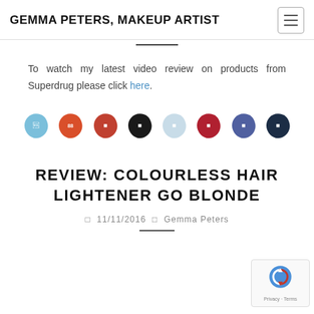GEMMA PETERS, MAKEUP ARTIST
To watch my latest video review on products from Superdrug please click here.
[Figure (illustration): Row of 8 social media leaf/teardrop shaped icons in various colors: light blue, orange-red, red, black, pale blue, dark red, blue-purple, dark navy]
REVIEW: COLOURLESS HAIR LIGHTENER GO BLONDE
11/11/2016 | Gemma Peters